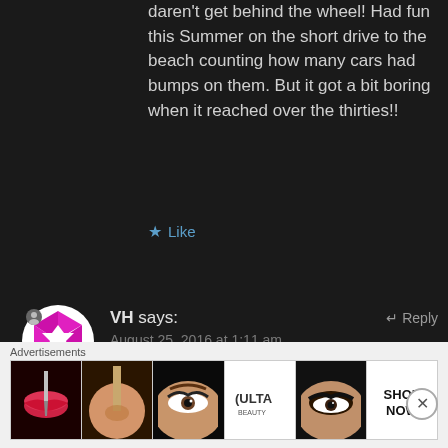daren't get behind the wheel! Had fun this Summer on the short drive to the beach counting how many cars had bumps on them. But it got a bit boring when it reached over the thirties!!
★ Like
VH says:
August 25, 2016 at 1:11 am
↵ Reply
I can imagine you must have lost
[Figure (screenshot): Advertisement banner for ULTA Beauty showing makeup imagery with SHOP NOW call to action]
Advertisements